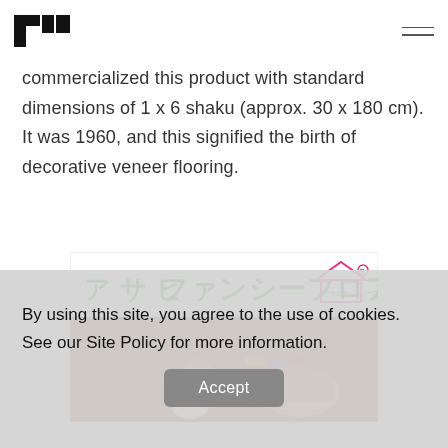FU [logo] / hamburger menu
commercialized this product with standard dimensions of 1 x 6 shaku (approx. 30 x 180 cm). It was 1960, and this signified the birth of decorative veneer flooring.
[Figure (photo): Vintage Japanese advertisement for 'Asahi Fancy Floor' showing Japanese text in green on white background, and a photo of a baby and a woman sitting on wooden flooring.]
By using this site, you agree to the use of cookies. See our Site Policy for more information.
Accept